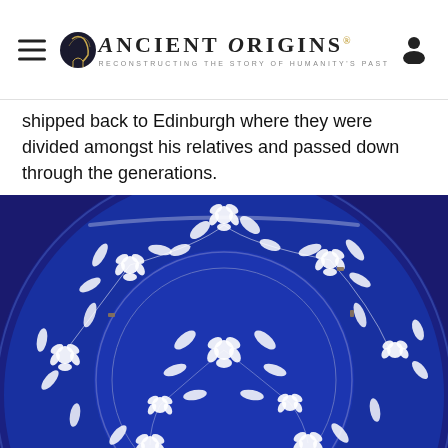Ancient Origins — Reconstructing the Story of Humanity's Past
shipped back to Edinburgh where they were divided amongst his relatives and passed down through the generations.
[Figure (photo): Close-up photograph of blue and white ceramic/porcelain plates with intricate floral and leaf patterns on a deep cobalt blue background, showing two nested circular plates.]